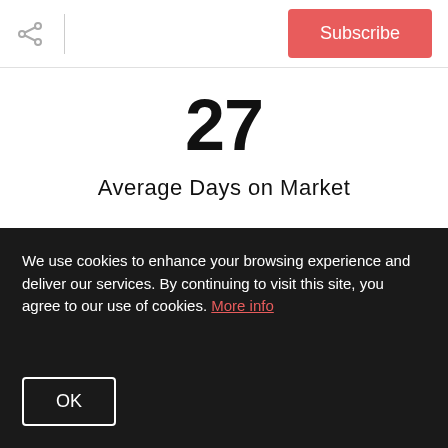Share | Subscribe
27
Average Days on Market
[Figure (illustration): Map icon showing a folded map with a location pin marker]
105.2%
We use cookies to enhance your browsing experience and deliver our services. By continuing to visit this site, you agree to our use of cookies. More info
OK